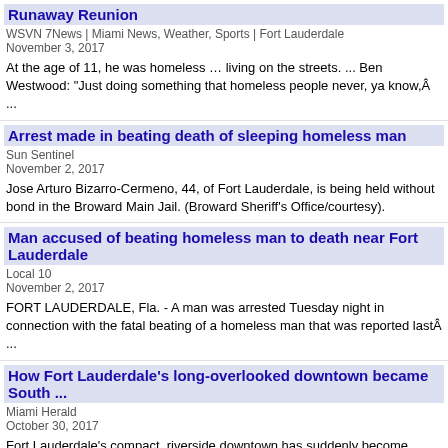Runaway Reunion
WSVN 7News | Miami News, Weather, Sports | Fort Lauderdale
November 3, 2017
At the age of 11, he was homeless … living on the streets. ... Ben Westwood: "Just doing something that homeless people never, ya know,Â ...
Arrest made in beating death of sleeping homeless man
Sun Sentinel
November 2, 2017
Jose Arturo Bizarro-Cermeno, 44, of Fort Lauderdale, is being held without bond in the Broward Main Jail. (Broward Sheriff's Office/courtesy).
Man accused of beating homeless man to death near Fort Lauderdale
Local 10
November 2, 2017
FORT LAUDERDALE, Fla. - A man was arrested Tuesday night in connection with the fatal beating of a homeless man that was reported lastÂ ...
How Fort Lauderdale's long-overlooked downtown became South ...
Miami Herald
October 30, 2017
Fort Lauderdale's compact, riverside downtown has suddenly become .....
and whose streets after dark were populated mostly by the homeless...